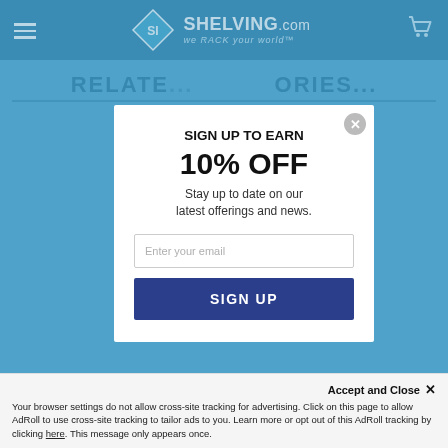[Figure (screenshot): Shelving.com website navigation bar with hamburger menu, diamond logo with 'SI' initials, SHELVING.com brand name with tagline 'we RACK your world', and shopping cart icon]
RELATE...ORIES...
[Figure (infographic): Modal popup dialog over blue website background showing email sign-up form with 'SIGN UP TO EARN 10% OFF' headline, subtitle text, email input field, and sign up button]
SIGN UP TO EARN
10% OFF
Stay up to date on our latest offerings and news.
Enter your email
SIGN UP
Accept and Close ✕
Your browser settings do not allow cross-site tracking for advertising. Click on this page to allow AdRoll to use cross-site tracking to tailor ads to you. Learn more or opt out of this AdRoll tracking by clicking here. This message only appears once.